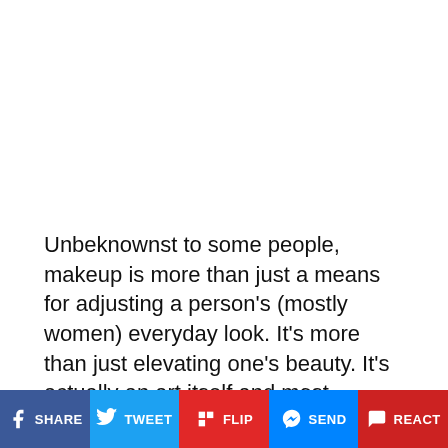Unbeknownst to some people, makeup is more than just a means for adjusting a person's (mostly women) everyday look. It's more than just elevating one's beauty. It's actually an art itself and most makeup artists take this craft very seriously.
Take for example Mimi Choi, who hails from Vancouver, Canada. She's a makeup artist who creates simple to intense hyper-real optical illusions.
SHARE  TWEET  FLIP  SEND  REACT